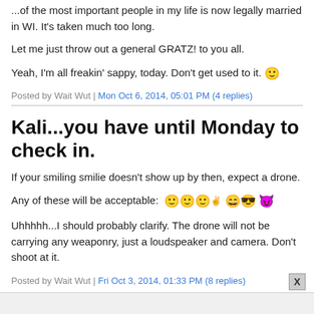...of the most important people in my life is now legally married in WI. It's taken much too long.
Let me just throw out a general GRATZ! to you all.
Yeah, I'm all freakin' sappy, today. Don't get used to it. 🙂
Posted by Wait Wut | Mon Oct 6, 2014, 05:01 PM (4 replies)
Kali...you have until Monday to check in.
If your smiling smilie doesn't show up by then, expect a drone.
Any of these will be acceptable: 🙂🙂🙂 🙂🙂 😈
Uhhhhh...I should probably clarify. The drone will not be carrying any weaponry, just a loudspeaker and camera. Don't shoot at it.
Posted by Wait Wut | Fri Oct 3, 2014, 01:33 PM (8 replies)